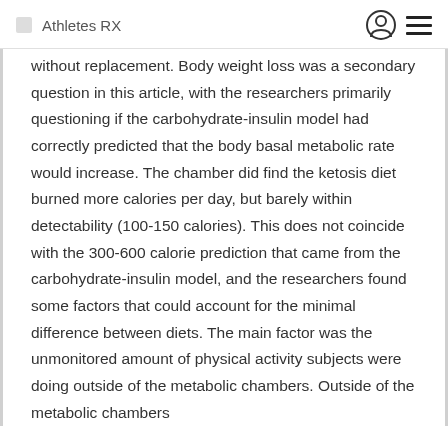Athletes RX
without replacement. Body weight loss was a secondary question in this article, with the researchers primarily questioning if the carbohydrate-insulin model had correctly predicted that the body basal metabolic rate would increase. The chamber did find the ketosis diet burned more calories per day, but barely within detectability (100-150 calories). This does not coincide with the 300-600 calorie prediction that came from the carbohydrate-insulin model, and the researchers found some factors that could account for the minimal difference between diets. The main factor was the unmonitored amount of physical activity subjects were doing outside of the metabolic chambers. Outside of the metabolic chambers